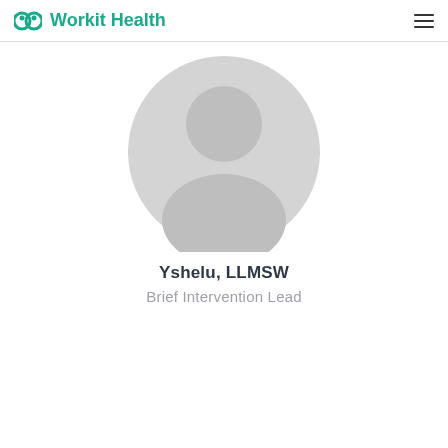Workit Health
[Figure (illustration): Generic placeholder avatar silhouette in light gray, showing a person outline with circular head and rounded shoulders on a circular background]
Yshelu, LLMSW
Brief Intervention Lead